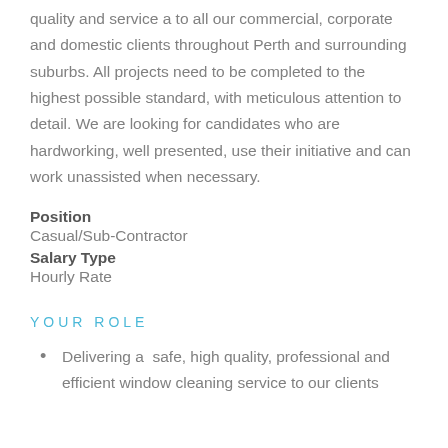quality and service a to all our commercial, corporate and domestic clients throughout Perth and surrounding suburbs. All projects need to be completed to the highest possible standard, with meticulous attention to detail. We are looking for candidates who are hardworking, well presented, use their initiative and can work unassisted when necessary.
Position
Casual/Sub-Contractor
Salary Type
Hourly Rate
YOUR ROLE
Delivering a  safe, high quality, professional and efficient window cleaning service to our clients